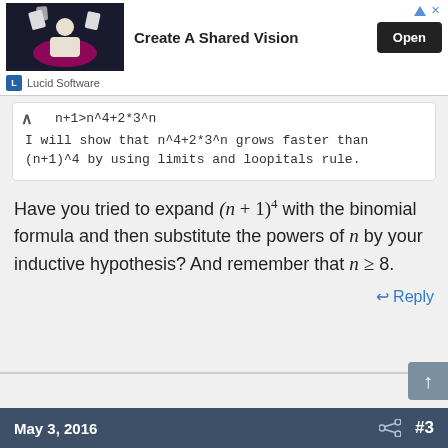[Figure (screenshot): Advertisement banner for Lucid Software with text 'Create A Shared Vision' and an Open button]
n+1>n^4+2*3^n
I will show that n^4+2*3^n grows faster than (n+1)^4 by using limits and loopitals rule.
Have you tried to expand (n + 1)^4 with the binomial formula and then substitute the powers of n by your inductive hypothesis? And remember that n ≥ 8.
Reply
May 3, 2016  #3